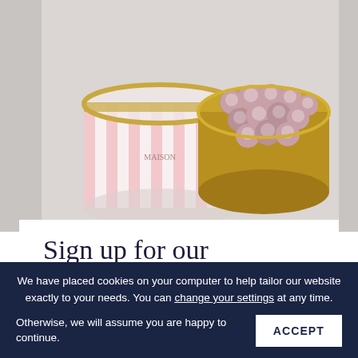[Figure (photo): A round cylindrical gift box with pink and white vertical stripes, gold lid trim, and branded text on the side. The box is open to reveal pink/dusty chocolate truffles inside a gold-rimmed container. Background shows blurred bookshelves.]
Sign up for our newsletter and receive 10% off your next order.
Some items are excluded: Champagne gift sets and hampers containing alcohol.
We have placed cookies on your computer to help tailor our website exactly to your needs. You can change your settings at any time. Otherwise, we will assume you are happy to continue.